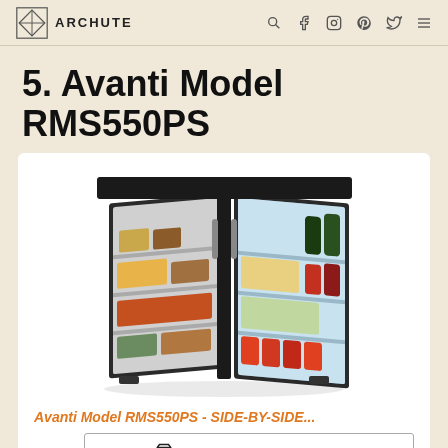ARCHUTE
5. Avanti Model RMS550PS
[Figure (photo): Photo of Avanti Model RMS550PS side-by-side mini refrigerator with both doors open showing interior shelves stocked with food and beverages]
Avanti Model RMS550PS - SIDE-BY-SIDE...
Check Price on Amazon